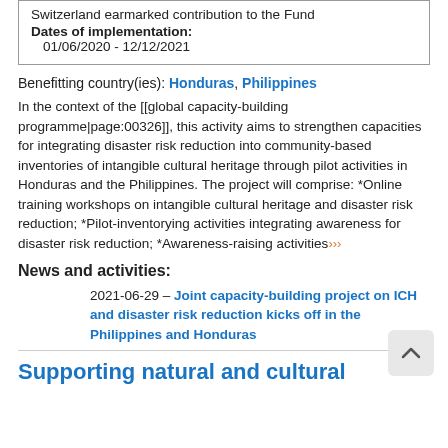| Switzerland earmarked contribution to the Fund |
| Dates of implementation: | 01/06/2020 - 12/12/2021 |
Benefitting country(ies): Honduras, Philippines
In the context of the [[global capacity-building programme|page:00326]], this activity aims to strengthen capacities for integrating disaster risk reduction into community-based inventories of intangible cultural heritage through pilot activities in Honduras and the Philippines. The project will comprise: *Online training workshops on intangible cultural heritage and disaster risk reduction; *Pilot-inventorying activities integrating awareness for disaster risk reduction; *Awareness-raising activities›››
News and activities:
2021-06-29 – Joint capacity-building project on ICH and disaster risk reduction kicks off in the Philippines and Honduras
Supporting natural and cultural